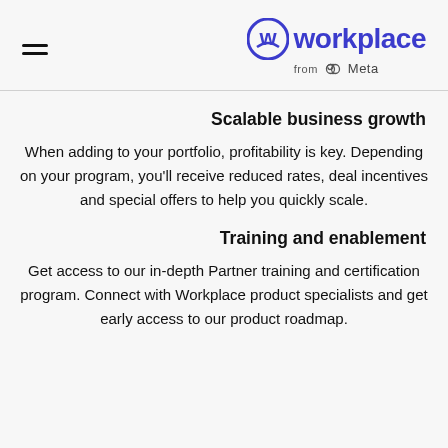workplace from Meta
Scalable business growth
When adding to your portfolio, profitability is key. Depending on your program, you'll receive reduced rates, deal incentives and special offers to help you quickly scale.
Training and enablement
Get access to our in-depth Partner training and certification program. Connect with Workplace product specialists and get early access to our product roadmap.